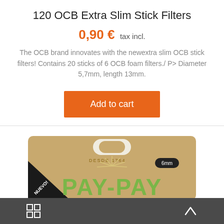120 OCB Extra Slim Stick Filters
0,90 €  tax incl.
The OCB brand innovates with the newextra slim OCB stick filters! Contains 20 sticks of 6 OCB foam filters./ P> Diameter 5,7mm, length 13mm.
[Figure (photo): Photo of a tan/kraft paper bag of Pay-Pay brand filters, 6mm, labeled NUEVO! and DESDE 1764, partially cropped at bottom of page]
Grid icon and up-arrow icon on dark footer bar